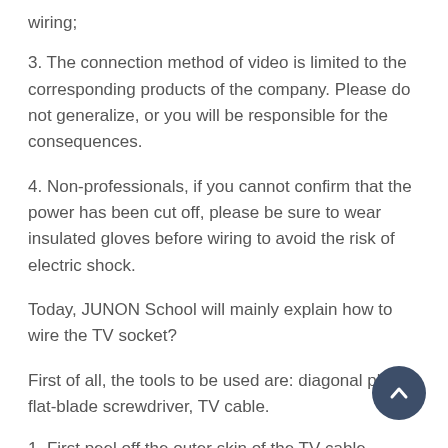wiring;
3. The connection method of video is limited to the corresponding products of the company. Please do not generalize, or you will be responsible for the consequences.
4. Non-professionals, if you cannot confirm that the power has been cut off, please be sure to wear insulated gloves before wiring to avoid the risk of electric shock.
Today, JUNON School will mainly explain how to wire the TV socket?
First of all, the tools to be used are: diagonal pliers, flat-blade screwdriver, TV cable.
1. First peel off the outer skin of the TV cable.